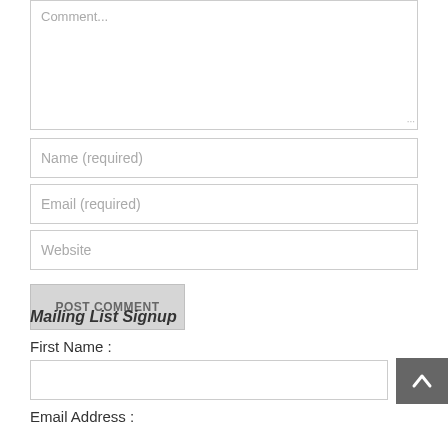Comment...
Name (required)
Email (required)
Website
POST COMMENT
Mailing List Signup
First Name :
Email Address :